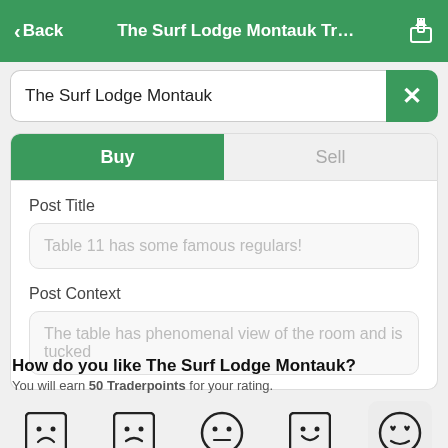< Back   The Surf Lodge Montauk Tr...   [share icon]
The Surf Lodge Montauk
Buy
Sell
Post Title
Table 11 has some famous regulars!
Post Context
The table has phenomenal view of the room and is tucked
How do you like The Surf Lodge Montauk?
You will earn 50 Traderpoints for your rating.